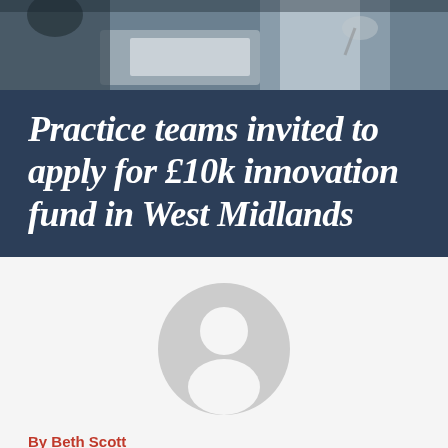[Figure (photo): Medical professionals in a clinical setting — a doctor in a white coat with stethoscope and another person visible in background]
Practice teams invited to apply for £10k innovation fund in West Midlands
[Figure (illustration): Generic user avatar/profile placeholder icon — grey circle with silhouette of a person]
By Beth Scott...